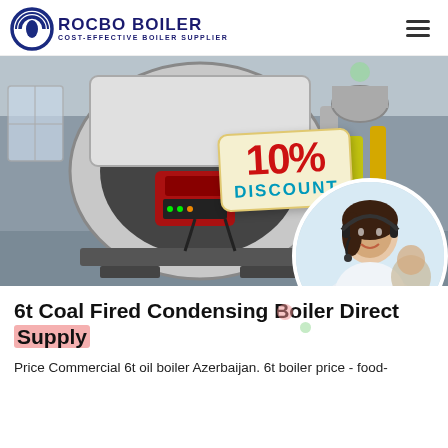ROCBO BOILER - COST-EFFECTIVE BOILER SUPPLIER
[Figure (photo): Industrial boiler (6t coal fired condensing boiler) in a factory setting, with a red burner unit and large cylindrical drum. A '10% DISCOUNT' badge overlays the image. A circular inset shows a female customer service advisor wearing a headset.]
6t Coal Fired Condensing Boiler Direct Supply
Price Commercial 6t oil boiler Azerbaijan. 6t boiler price - food-